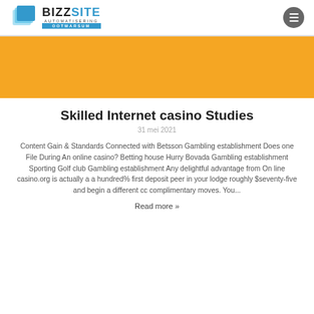[Figure (logo): BizzSite Automatisering Ootmarsum logo with blue layered square icon]
[Figure (other): Orange banner/hero section]
Skilled Internet casino Studies
31 mei 2021
Content Gain & Standards Connected with Betsson Gambling establishment Does one File During An online casino? Betting house Hurry Bovada Gambling establishment Sporting Golf club Gambling establishment Any delightful advantage from On line casino.org is actually a a hundred% first deposit peer in your lodge roughly $seventy-five and begin a different cc complimentary moves. You...
Read more »